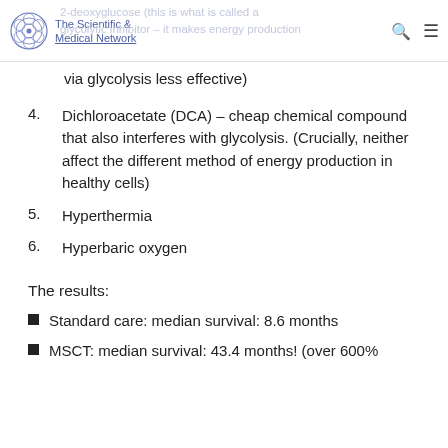The Scientific & Medical Network | 2-deoxyglucose (this is what is called a glycolytic inhibitor – it makes energy production via glycolysis less effective)
via glycolysis less effective)
4. Dichloroacetate (DCA) – cheap chemical compound that also interferes with glycolysis. (Crucially, neither affect the different method of energy production in healthy cells)
5. Hyperthermia
6. Hyperbaric oxygen
The results:
Standard care: median survival: 8.6 months
MSCT: median survival: 43.4 months! (over 600%